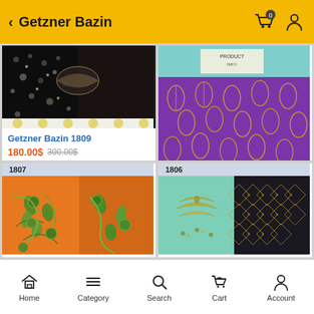Getzner Bazin
[Figure (screenshot): Product card for Getzner Bazin 1809 showing dark fabric with beaded embellishments]
Getzner Bazin 1809
180.00$ 300.00$
[Figure (screenshot): Product card for Getzner Bazin 1808 showing purple fabric with gold leaf pattern embroidery]
Getzner Bazin 1808
180.00$ 300.00$
[Figure (screenshot): Product card for Getzner Bazin 1807 showing orange fabric with green floral embroidery]
[Figure (screenshot): Product card for Getzner Bazin 1806 showing teal and black patterned fabric]
Home  Category  Search  Cart  Account